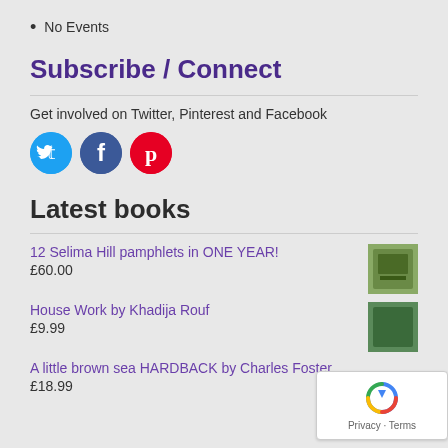No Events
Subscribe / Connect
Get involved on Twitter, Pinterest and Facebook
[Figure (infographic): Three social media icons: Twitter (blue circle), Facebook (dark blue circle), Pinterest (red circle)]
Latest books
12 Selima Hill pamphlets in ONE YEAR!
£60.00
House Work by Khadija Rouf
£9.99
A little brown sea HARDBACK by Charles Foster
£18.99